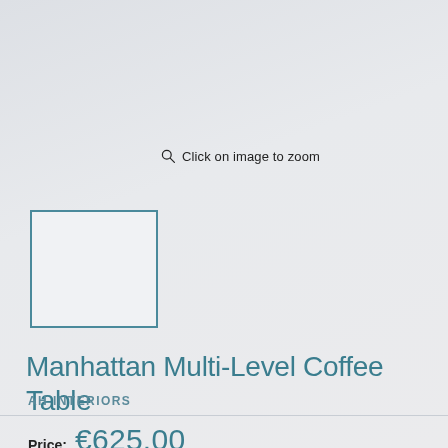Click on image to zoom
[Figure (other): Small thumbnail placeholder box with teal border]
Manhattan Multi-Level Coffee Table
AH INTERIORS
Price: €625.00